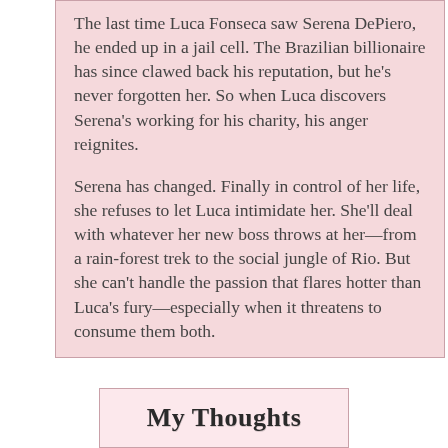The last time Luca Fonseca saw Serena DePiero, he ended up in a jail cell. The Brazilian billionaire has since clawed back his reputation, but he's never forgotten her. So when Luca discovers Serena's working for his charity, his anger reignites.

Serena has changed. Finally in control of her life, she refuses to let Luca intimidate her. She'll deal with whatever her new boss throws at her—from a rain-forest trek to the social jungle of Rio. But she can't handle the passion that flares hotter than Luca's fury—especially when it threatens to consume them both.
[Figure (other): Decorative label reading 'My Thoughts' in an ornate serif font on a pink background with border]